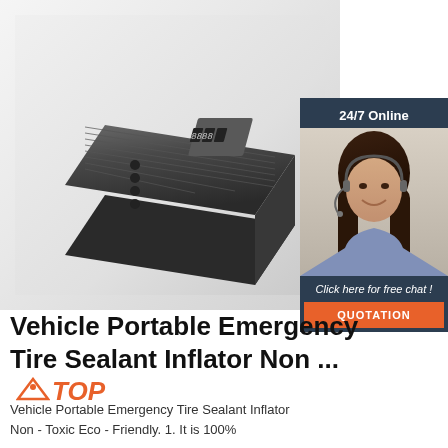[Figure (photo): A dark gray portable tire sealant inflator device with digital display and buttons, shown at an angle on a white/light gray background]
[Figure (infographic): Chat widget with '24/7 Online' header, photo of smiling woman with headset, 'Click here for free chat!' text, and orange QUOTATION button]
Vehicle Portable Emergency Tire Sealant Inflator Non ... TOP
Vehicle Portable Emergency Tire Sealant Inflator Non - Toxic Eco - Friendly. 1. It is 100%